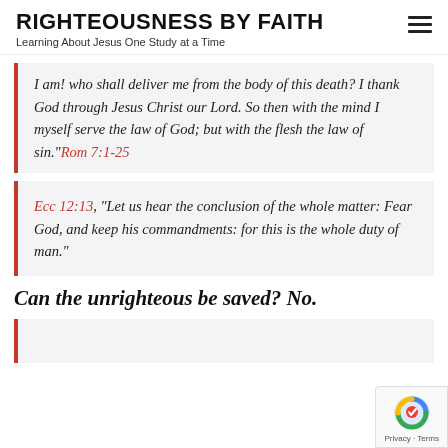RIGHTEOUSNESS BY FAITH
Learning About Jesus One Study at a Time
I am! who shall deliver me from the body of this death? I thank God through Jesus Christ our Lord. So then with the mind I myself serve the law of God; but with the flesh the law of sin.“Rom 7:1-25
Ecc 12:13, “Let us hear the conclusion of the whole matter: Fear God, and keep his commandments: for this is the whole duty of man.”
Can the unrighteous be saved? No.